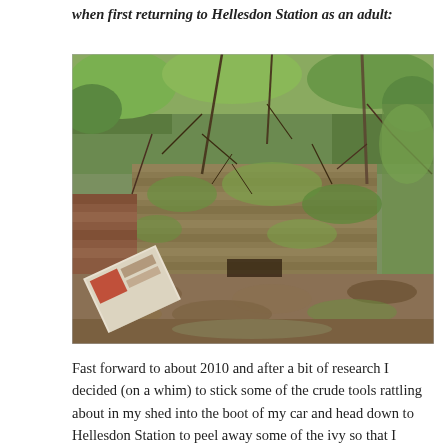when first returning to Hellesdon Station as an adult:
[Figure (photo): Photograph of a derelict overgrown brick wall structure at Hellesdon Station, covered in moss, ivy, and dead branches. A discarded piece of printed material is visible in the lower left foreground, and fallen leaves litter the ground.]
Fast forward to about 2010 and after a bit of research I decided (on a whim) to stick some of the crude tools rattling about in my shed into the boot of my car and head down to Hellesdon Station to peel away some of the ivy so that I could see what was going on